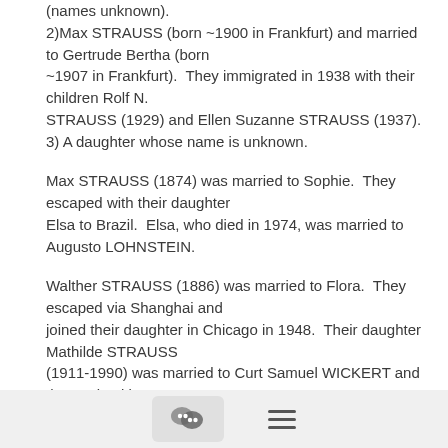(names unknown).
2)Max STRAUSS (born ~1900 in Frankfurt) and married to Gertrude Bertha (born
~1907 in Frankfurt).  They immigrated in 1938 with their children Rolf N.
STRAUSS (1929) and Ellen Suzanne STRAUSS (1937).
3) A daughter whose name is unknown.
Max STRAUSS (1874) was married to Sophie.  They escaped with their daughter
Elsa to Brazil.  Elsa, who died in 1974, was married to Augusto LOHNSTEIN.
Walther STRAUSS (1886) was married to Flora.  They escaped via Shanghai and
joined their daughter in Chicago in 1948.  Their daughter Mathilde STRAUSS
(1911-1990) was married to Curt Samuel WICKERT and they arrived in San
Francisco from Shanghai in 1948 with their 3-year-old son Paul
[Figure (other): Footer bar with a chat bubble icon button and a hamburger menu icon]